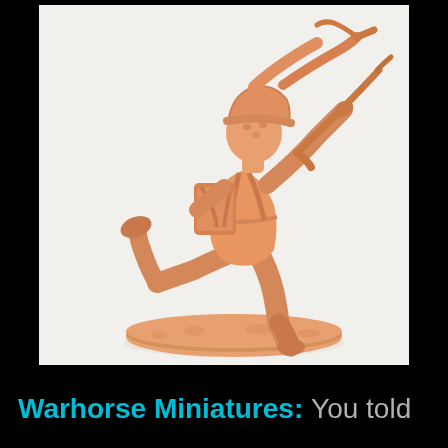[Figure (photo): Photograph of an orange plastic toy soldier miniature in a running pose, carrying equipment, mounted on an oval base. The figure is molded in a single orange/salmon color against a white background.]
Warhorse Miniatures: You told